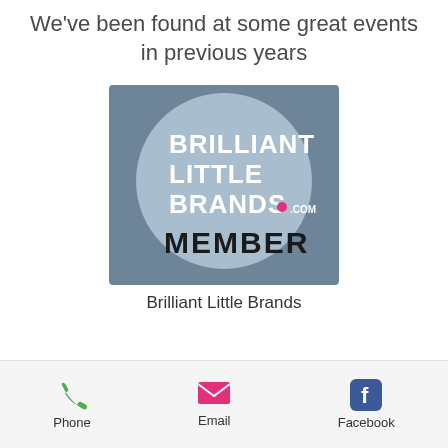We've been found at some great events in previous years
[Figure (logo): Brilliant Little Brands member badge — square with rounded corners and steel-blue background, featuring a large light-blue circle with white bold text 'BRILLIANT LITTLE BRANDS' with a pink dot and '.COM' superscript, and below in dark text 'MEMBER']
Brilliant Little Brands
Phone  Email  Facebook